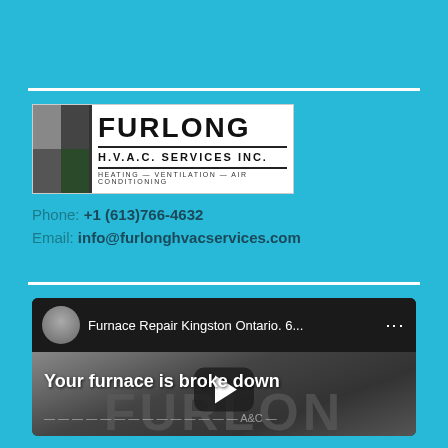[Figure (logo): Furlong H.V.A.C. Services Inc. logo with grey/dark square grid icon and text: Furlong, H.V.A.C. Services Inc., Heating - Ventilation - Air Conditioning]
Phone: +1 (613)766-4632
Email: info@furlonghvacservices.com
[Figure (screenshot): YouTube video thumbnail showing 'Furnace Repair Kingston Ontario. 6...' with avatar, play button, and caption 'Your furnace is broke down']